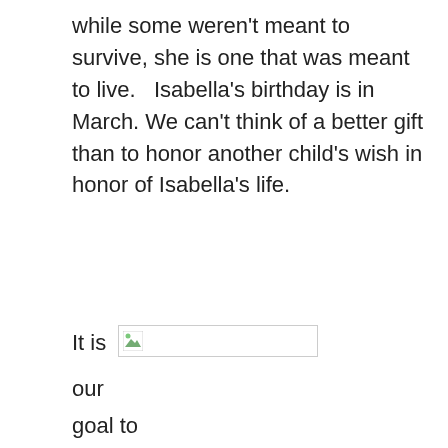while some weren't meant to survive, she is one that was meant to live.   Isabella's birthday is in March. We can't think of a better gift than to honor another child's wish in honor of Isabella's life.
It is
[Figure (other): Broken/missing image placeholder with small green image icon in top-left corner]
our
goal to
raise
$6,000
in 14
days
for
what
would
have